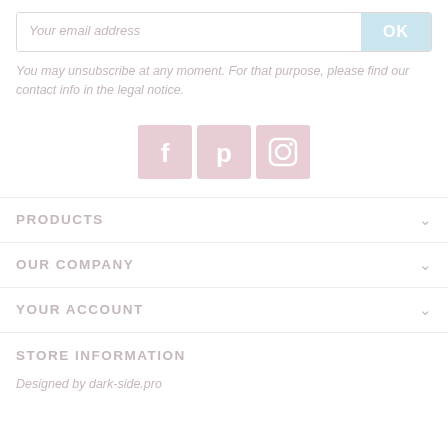Your email address
You may unsubscribe at any moment. For that purpose, please find our contact info in the legal notice.
[Figure (illustration): Three social media icon buttons: Facebook (f), Pinterest (p), and Instagram (camera icon), rendered as pinkish-red square tiles]
PRODUCTS
OUR COMPANY
YOUR ACCOUNT
STORE INFORMATION
Designed by dark-side.pro